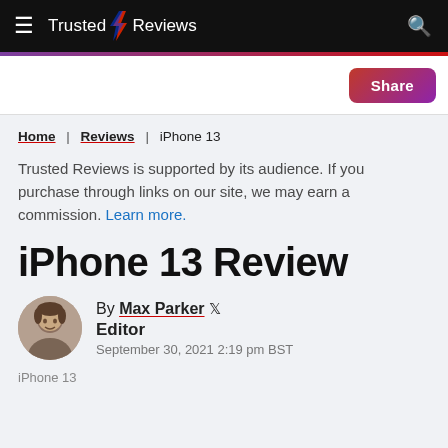Trusted Reviews
Home | Reviews | iPhone 13
Trusted Reviews is supported by its audience. If you purchase through links on our site, we may earn a commission. Learn more.
iPhone 13 Review
By Max Parker [twitter] Editor September 30, 2021 2:19 pm BST
iPhone 13